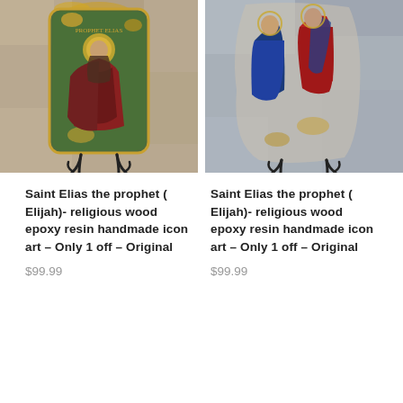[Figure (photo): Saint Elias the prophet religious icon on wood with epoxy resin and gold leaf, displayed on a metal stand, on a stone-textured surface. Left product photo.]
[Figure (photo): Saint Elias the prophet religious icon on stone/wood with epoxy resin, showing figures in blue and red robes, displayed on a metal stand. Right product photo.]
Saint Elias the prophet ( Elijah)- religious wood epoxy resin handmade icon art – Only 1 off – Original
$99.99
Saint Elias the prophet ( Elijah)- religious wood epoxy resin handmade icon art – Only 1 off – Original
$99.99